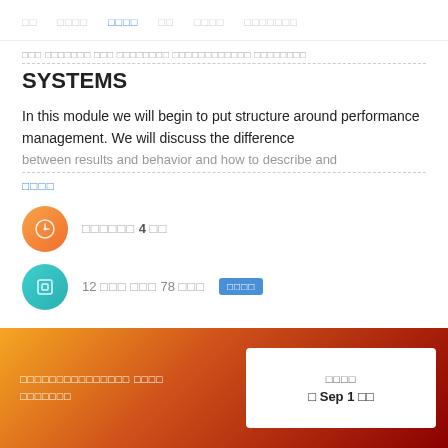□□   □□□□   □□□□   □□   □□□□   □□□□□□□
... SYSTEMS
In this module we will begin to put structure around performance management. We will discuss the difference between results and behavior and how to describe and
□□□□ (read more link)
□□□□□□ 4 □□
12 □□□ □□□ 78 □□□  □□□□
□□□□□□□□□□□□□□□ □□□□ □□□□□□□
□□□□ / Sep 1 □□